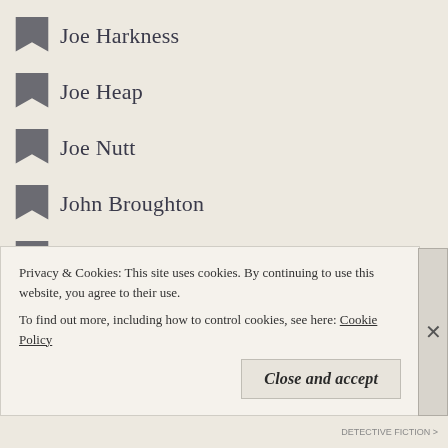Joe Harkness
Joe Heap
Joe Nutt
John Broughton
John Buchan
John Bude
John Dickson Carr
John Foley
John le Carre
John Lincoln
John Mead
John Steinberg
Josephine Bell
Privacy & Cookies: This site uses cookies. By continuing to use this website, you agree to their use. To find out more, including how to control cookies, see here: Cookie Policy
Close and accept